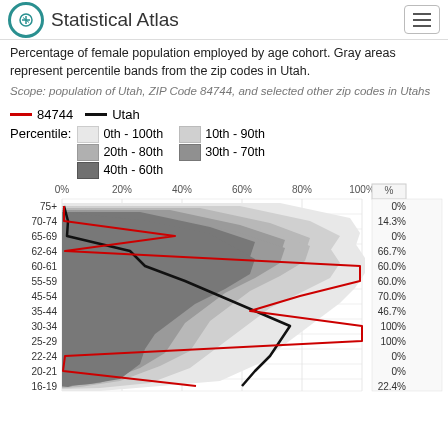Statistical Atlas
Percentage of female population employed by age cohort. Gray areas represent percentile bands from the zip codes in Utah.
Scope: population of Utah, ZIP Code 84744, and selected other zip codes in Utahs
84744   Utah   Percentile: 0th - 100th   10th - 90th   20th - 80th   30th - 70th   40th - 60th
[Figure (continuous-plot): Horizontal bar/line chart showing percentage of female population employed by age cohort. Red line = ZIP 84744, black line = Utah average. Gray shaded bands show percentile ranges (0th-100th, 10th-90th, 20th-80th, 30th-70th, 40th-60th). Age groups on y-axis: 75+, 70-74, 65-69, 62-64, 60-61, 55-59, 45-54, 35-44, 30-34, 25-29, 22-24, 20-21, 16-19. X-axis: 0% to 100%. Values on right: 0%, 14.3%, 0%, 66.7%, 60.0%, 60.0%, 70.0%, 46.7%, 100%, 100%, 0%, 0%, 22.4%]